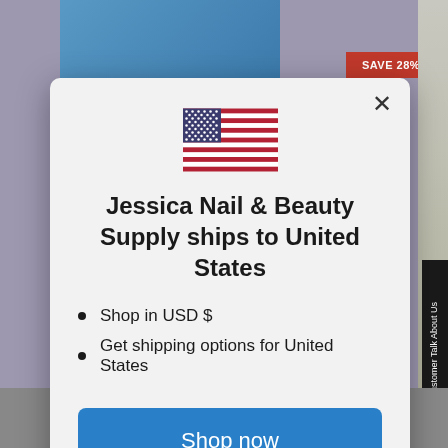[Figure (screenshot): Background showing a beauty/nail supply website with product images and a 'SAVE 28%' badge, overlaid by a modal dialog]
Jessica Nail & Beauty Supply ships to United States
Shop in USD $
Get shipping options for United States
Shop now
Change shipping country